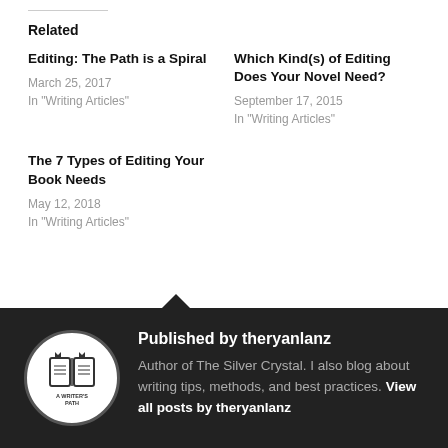Related
Editing: The Path is a Spiral
March 25, 2017
In "Writing Articles"
Which Kind(s) of Editing Does Your Novel Need?
September 17, 2015
In "Writing Articles"
The 7 Types of Editing Your Book Needs
May 12, 2018
In "Writing Articles"
Published by theryanlanz
Author of The Silver Crystal. I also blog about writing tips, methods, and best practices. View all posts by theryanlanz